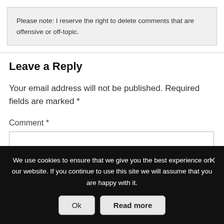Please note: I reserve the right to delete comments that are offensive or off-topic.
Leave a Reply
Your email address will not be published. Required fields are marked *
Comment *
We use cookies to ensure that we give you the best experience on our website. If you continue to use this site we will assume that you are happy with it.